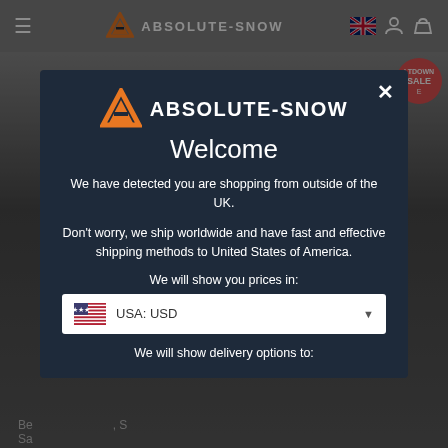ABSOLUTE-SNOW
[Figure (screenshot): Absolute-Snow website modal popup showing welcome message for international shoppers with currency selector set to USA: USD]
ABSOLUTE-SNOW
Welcome
We have detected you are shopping from outside of the UK.
Don't worry, we ship worldwide and have fast and effective shipping methods to United States of America.
We will show you prices in:
USA: USD
We will show delivery options to: